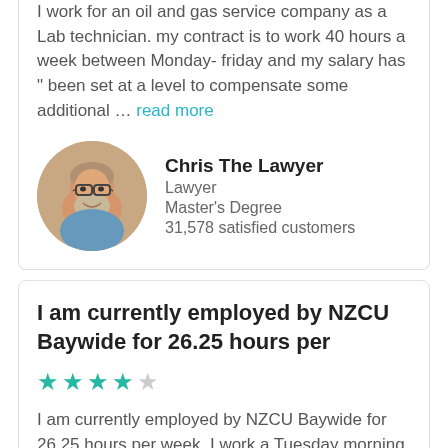I work for an oil and gas service company as a Lab technician. my contract is to work 40 hours a week between Monday- friday and my salary has " been set at a level to compensate some additional … read more
[Figure (photo): Circular avatar photo of Chris The Lawyer, a middle-aged man with glasses and a beard]
Chris The Lawyer
Lawyer
Master's Degree
31,578 satisfied customers
I am currently employed by NZCU Baywide for 26.25 hours per
★★★★☆
I am currently employed by NZCU Baywide for 26.25 hours per week. I work a Tuesday morning from 8.30 to 1pm and Wednesday, Thursday and Friday from 9am to 4.45 pm. Our office is currently … read more